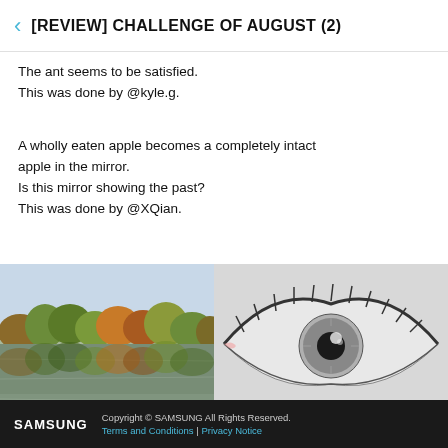[REVIEW] CHALLENGE OF AUGUST (2)
The ant seems to be satisfied.
This was done by @kyle.g.
A wholly eaten apple becomes a completely intact apple in the mirror.
Is this mirror showing the past?
This was done by @XQian.
[Figure (photo): A photo of a lake with autumn trees reflected in the water]
[Figure (illustration): A detailed pencil drawing of a human eye with eyelashes and iris detail, signed with initials]
SAMSUNG  Copyright © SAMSUNG All Rights Reserved.  Terms and Conditions | Privacy Notice